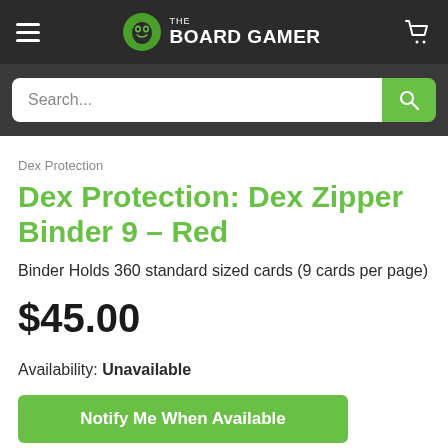THE BOARD GAMER
Search...
Dex Protection
Dex Protection: Dex Zipper Binder 9 – Red
Binder Holds 360 standard sized cards (9 cards per page)
$45.00
Availability: Unavailable
Notify Me When Available